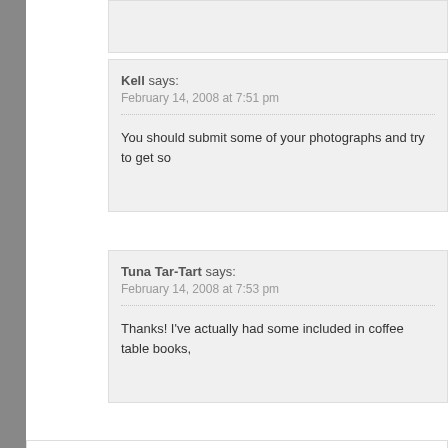Kell says: February 14, 2008 at 7:51 pm
You should submit some of your photographs and try to get so
Tuna Tar-Tart says: February 14, 2008 at 7:53 pm
Thanks! I've actually had some included in coffee table books,
4. Big Buckle says: February 14, 2008 at 6:55 pm
I still can't get over you got me what I always wanted. I just wish it was b